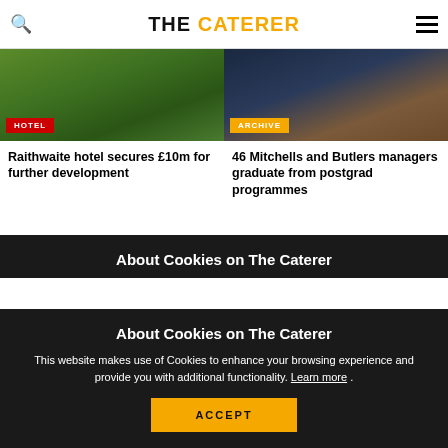THE CATERER
[Figure (photo): Aerial garden view with greenery and lawn, hotel badge overlay]
[Figure (photo): Group of people standing at an event, archive badge overlay]
Raithwaite hotel secures £10m for further development
46 Mitchells and Butlers managers graduate from postgrad programmes
About Cookies on The Caterer
This website makes use of Cookies to enhance your browsing experience and provide you with additional functionality. Learn more .
ACCEPT